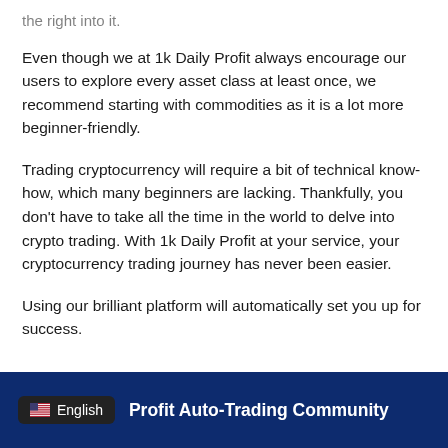the right into it.
Even though we at 1k Daily Profit always encourage our users to explore every asset class at least once, we recommend starting with commodities as it is a lot more beginner-friendly.
Trading cryptocurrency will require a bit of technical know-how, which many beginners are lacking. Thankfully, you don't have to take all the time in the world to delve into crypto trading. With 1k Daily Profit at your service, your cryptocurrency trading journey has never been easier.
Using our brilliant platform will automatically set you up for success.
1k Daily Profit Auto-Trading Community